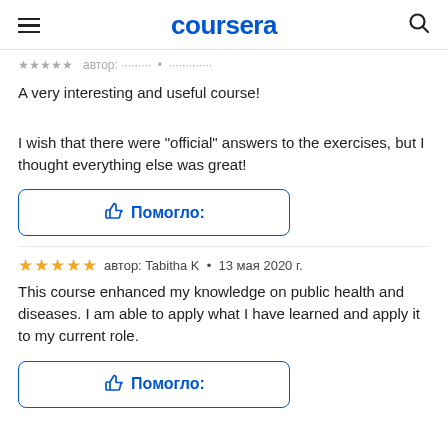coursera
автор: ......... • ............
A very interesting and useful course!
I wish that there were "official" answers to the exercises, but I thought everything else was great!
[Figure (other): Помогло: button with thumbs up icon, blue border rounded rectangle]
автор: Tabitha K  •  13 мая 2020 г.
This course enhanced my knowledge on public health and diseases. I am able to apply what I have learned and apply it to my current role.
[Figure (other): Помогло: button with thumbs up icon, blue border rounded rectangle]